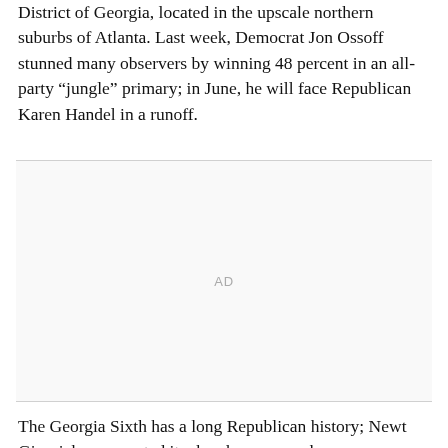District of Georgia, located in the upscale northern suburbs of Atlanta. Last week, Democrat Jon Ossoff stunned many observers by winning 48 percent in an all-party “jungle” primary; in June, he will face Republican Karen Handel in a runoff.
[Figure (other): Advertisement placeholder area with 'AD' label, bordered top and bottom with light gray lines]
The Georgia Sixth has a long Republican history; Newt Gingrich represented it when he was speaker